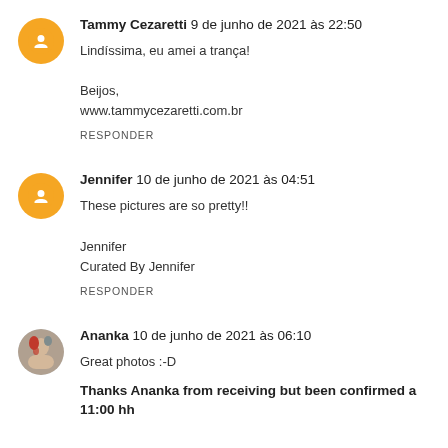Tammy Cezaretti 9 de junho de 2021 às 22:50
Lindíssima, eu amei a trança!

Beijos,
www.tammycezaretti.com.br
RESPONDER
Jennifer 10 de junho de 2021 às 04:51
These pictures are so pretty!!

Jennifer
Curated By Jennifer
RESPONDER
Ananka 10 de junho de 2021 às 06:10
Great photos :-D
Thanks Ananka from receiving but been confirmed a 11:00 hh